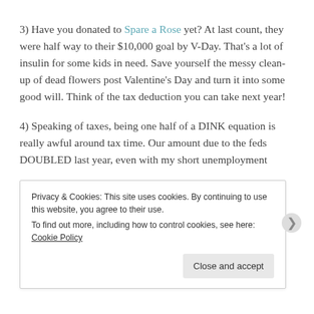3) Have you donated to Spare a Rose yet? At last count, they were half way to their $10,000 goal by V-Day. That's a lot of insulin for some kids in need. Save yourself the messy clean-up of dead flowers post Valentine's Day and turn it into some good will. Think of the tax deduction you can take next year!
4) Speaking of taxes, being one half of a DINK equation is really awful around tax time. Our amount due to the feds DOUBLED last year, even with my short unemployment
Privacy & Cookies: This site uses cookies. By continuing to use this website, you agree to their use.
To find out more, including how to control cookies, see here: Cookie Policy